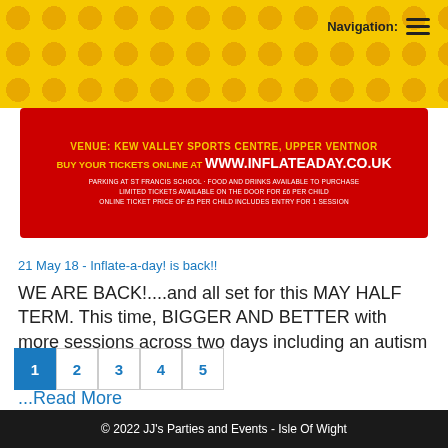Navigation: ☰
[Figure (infographic): Red banner advertisement: VENUE: KEW VALLEY SPORTS CENTRE, UPPER VENTNOR. BUY YOUR TICKETS ONLINE AT WWW.INFLATEADAY.CO.UK. PARKING AT ST FRANCIS SCHOOL · FOOD AND DRINKS AVAILABLE TO PURCHASE. LIMITED TICKETS AVAILABLE ON THE DOOR FOR £6 PER CHILD. ONLINE TICKET PRICE OF £5 PER CHILD INCLUDES ENTRY FOR 1 SESSION]
21 May 18 - Inflate-a-day! is back!!
WE ARE BACK!....and all set for this MAY HALF TERM. This time, BIGGER AND BETTER with more sessions across two days including an autism friendly..
...Read More
© 2022 JJ's Parties and Events - Isle Of Wight